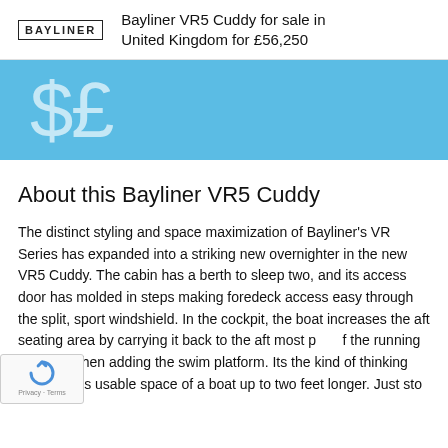BAYLINER | Bayliner VR5 Cuddy for sale in United Kingdom for £56,250
[Figure (illustration): Light blue banner with large semi-transparent dollar sign and pound sign symbols in white]
About this Bayliner VR5 Cuddy
The distinct styling and space maximization of Bayliner's VR Series has expanded into a striking new overnighter in the new VR5 Cuddy. The cabin has a berth to sleep two, and its access door has molded in steps making foredeck access easy through the split, sport windshield. In the cockpit, the boat increases the aft seating area by carrying it back to the aft most point of the running surface—then adding the swim platform. Its the kind of thinking that creates usable space of a boat up to two feet longer. Just sto